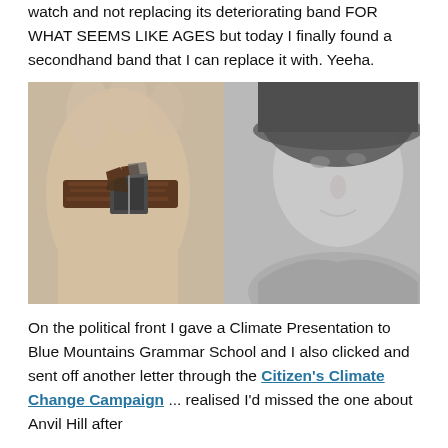watch and not replacing its deteriorating band FOR WHAT SEEMS LIKE AGES but today I finally found a secondhand band that I can replace it with. Yeeha.
[Figure (photo): Photo showing a close-up of a wrist wearing a watch with a badly deteriorating brown leather band with cracks and peeling, alongside a blurred black and white portrait of a person wearing a hat.]
On the political front I gave a Climate Presentation to Blue Mountains Grammar School and I also clicked and sent off another letter through the Citizen's Climate Change Campaign ... realised I'd missed the one about Anvil Hill after